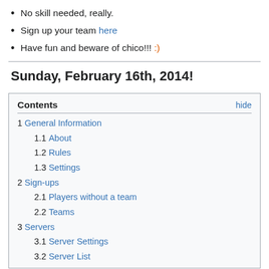No skill needed, really.
Sign up your team here
Have fun and beware of chico!!! :)
Sunday, February 16th, 2014!
| Contents | hide |
| --- | --- |
| 1 General Information |  |
| 1.1 About |  |
| 1.2 Rules |  |
| 1.3 Settings |  |
| 2 Sign-ups |  |
| 2.1 Players without a team |  |
| 2.2 Teams |  |
| 3 Servers |  |
| 3.1 Server Settings |  |
| 3.2 Server List |  |